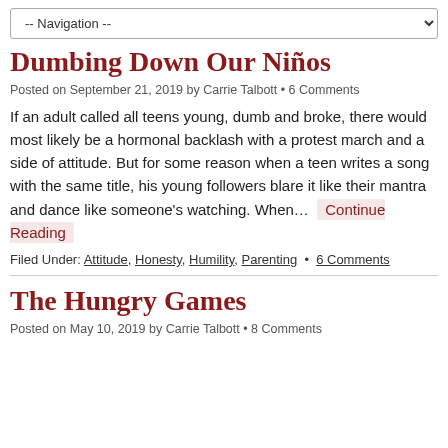-- Navigation --
Dumbing Down Our Ninos
Posted on September 21, 2019 by Carrie Talbott • 6 Comments
If an adult called all teens young, dumb and broke, there would most likely be a hormonal backlash with a protest march and a side of attitude. But for some reason when a teen writes a song with the same title, his young followers blare it like their mantra and dance like someone's watching. When… Continue Reading
Filed Under: Attitude, Honesty, Humility, Parenting • 6 Comments
The Hungry Games
Posted on May 10, 2019 by Carrie Talbott • 8 Comments